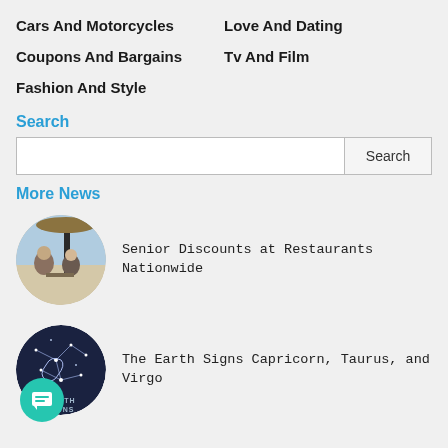Cars And Motorcycles
Love And Dating
Coupons And Bargains
Tv And Film
Fashion And Style
Search
More News
Senior Discounts at Restaurants Nationwide
[Figure (photo): Circular photo of two people sitting at an outdoor restaurant table with a dark post and thatched roof in the background]
The Earth Signs Capricorn, Taurus, and Virgo
[Figure (photo): Circular dark blue image with zodiac constellation drawings and text 'EARTH SIGNS' at the bottom]